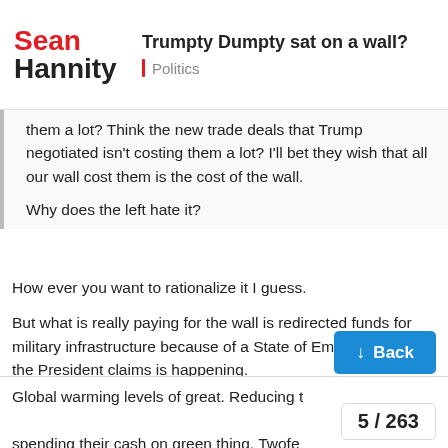Sean Hannity – Trumpty Dumpty sat on a wall? – Politics
them a lot? Think the new trade deals that Trump negotiated isn't costing them a lot? I'll bet they wish that all our wall cost them is the cost of the wall.

Why does the left hate it?
How ever you want to rationalize it I guess.
But what is really paying for the wall is redirected funds for military infrastructure because of a State of Emergency that the President claims is happening.
Instead of going to Congress to get the funding… he goes around them… a tactic that the supporters are totally going to not care about when a Democrat does the same exact thing for his/her pet project.
It's going to be great.
Global warming levels of great. Reducing t spending their cash on green thing. Twofe